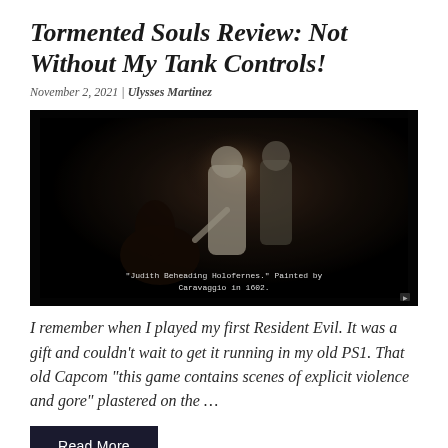Tormented Souls Review: Not Without My Tank Controls!
November 2, 2021 | Ulysses Martinez
[Figure (photo): Dark screenshot or painting from Tormented Souls game showing a dramatic scene with figures. Overlay caption reads: "Judith Beheading Holofernes." Painted by Caravaggio in 1602.]
I remember when I played my first Resident Evil. It was a gift and couldn't wait to get it running in my old PS1. That old Capcom “this game contains scenes of explicit violence and gore” plastered on the …
Read More